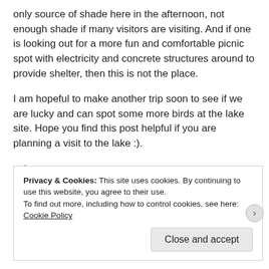only source of shade here in the afternoon, not enough shade if many visitors are visiting. And if one is looking out for a more fun and comfortable picnic spot with electricity and concrete structures around to provide shelter, then this is not the place.
I am hopeful to make another trip soon to see if we are lucky and can spot some more birds at the lake site. Hope you find this post helpful if you are planning a visit to the lake :).
ashu
Privacy & Cookies: This site uses cookies. By continuing to use this website, you agree to their use.
To find out more, including how to control cookies, see here: Cookie Policy